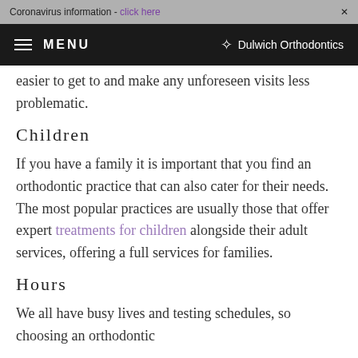Coronavirus information - [link] ×
MENU  Dulwich Orthodontics
easier to get to and make any unforeseen visits less problematic.
Children
If you have a family it is important that you find an orthodontic practice that can also cater for their needs. The most popular practices are usually those that offer expert treatments for children alongside their adult services, offering a full services for families.
Hours
We all have busy lives and testing schedules, so choosing an orthodontic